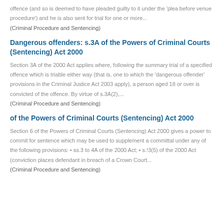offence (and so is deemed to have pleaded guilty to it under the 'plea before venue procedure') and he is also sent for trial for one or more...
(Criminal Procedure and Sentencing)
Dangerous offenders: s.3A of the Powers of Criminal Courts (Sentencing) Act 2000
Section 3A of the 2000 Act applies where, following the summary trial of a specified offence which is triable either way (that is, one to which the 'dangerous offender' provisions in the Criminal Justice Act 2003 apply), a person aged 18 or over is convicted of the offence. By virtue of s.3A(2),...
(Criminal Procedure and Sentencing)
of the Powers of Criminal Courts (Sentencing) Act 2000
Section 6 of the Powers of Criminal Courts (Sentencing) Act 2000 gives a power to commit for sentence which may be used to supplement a committal under any of the following provisions: • ss.3 to 4A of the 2000 Act; • s.!3(5) of the 2000 Act (conviction places defendant in breach of a Crown Court...
(Criminal Procedure and Sentencing)